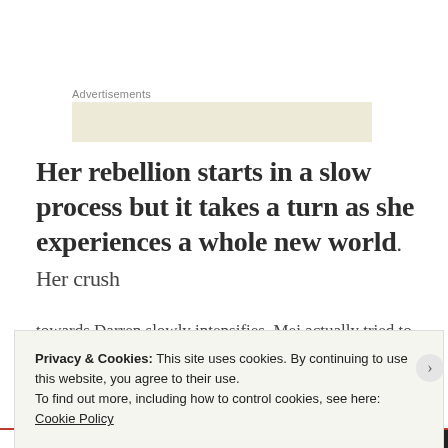Advertisements
Her rebellion starts in a slow process but it takes a turn as she experiences a whole new world. Her crush towards Darren slowly intensifies. Mei actually tried to do everything possible to do that she had been
Privacy & Cookies: This site uses cookies. By continuing to use this website, you agree to their use.
To find out more, including how to control cookies, see here: Cookie Policy
Close and accept